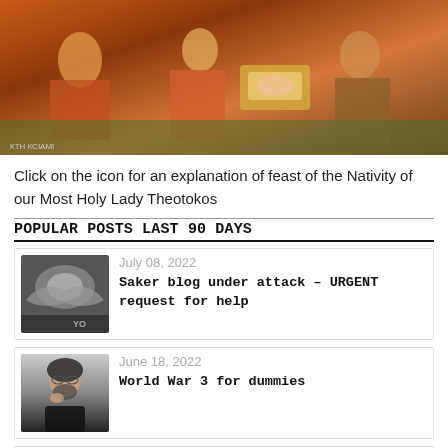[Figure (photo): Byzantine icon depicting the Nativity of the Theotokos — figures in orange/red robes around a reclining woman and infant in a cradle]
Click on the icon for an explanation of feast of the Nativity of our Most Holy Lady Theotokos
POPULAR POSTS LAST 90 DAYS
[Figure (photo): Thumbnail image of an eagle with wings spread, with text 'YO' visible]
July 08, 2022
Saker blog under attack – URGENT request for help
[Figure (photo): Thumbnail of a man with glasses and beard, thinking pose]
June 18, 2022
World War 3 for dummies
[Figure (photo): Thumbnail with blue and red tones, partial flag visible]
July 23, 2022